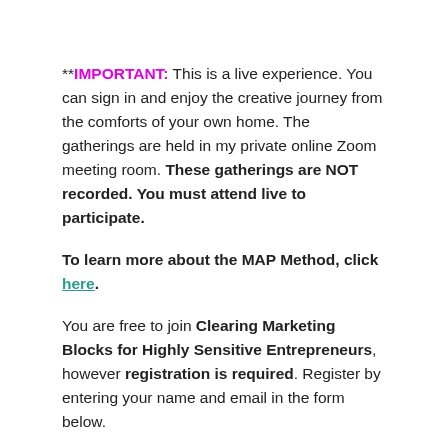**IMPORTANT: This is a live experience. You can sign in and enjoy the creative journey from the comforts of your own home. The gatherings are held in my private online Zoom meeting room. These gatherings are NOT recorded. You must attend live to participate.
To learn more about the MAP Method, click here.
You are free to join Clearing Marketing Blocks for Highly Sensitive Entrepreneurs, however registration is required. Register by entering your name and email in the form below.